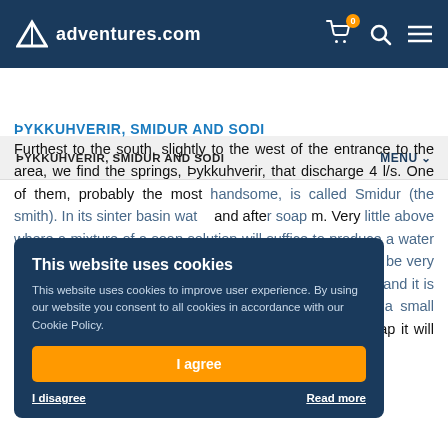adventures.com
ÞYKKUHVERIR, SMIDUR AND SODI
ÞYKKUHVERIR, SMIDUR AND SODI
Furthest to the south, slightly to the west of the entrance to the area, we find the springs, Þykkuhverir, that discharge 4 l/s. One of them, probably the most handsome, is called Smidur (the smith). In its sinter basin water and after soap m. Very little above where a mixture of a soap solution will suffice to produce a water column just a few minutes after although the episode will be very brief. The spring needs a lot of time to settle down again and it is futile it with soap an once a day. Just below Smidur, a small nameless spring bubbles violently. After a helping of soap it will fling its water
This website uses cookies
This website uses cookies to improve user experience. By using our website you consent to all cookies in accordance with our Cookie Policy.
I agree
I disagree
Read more